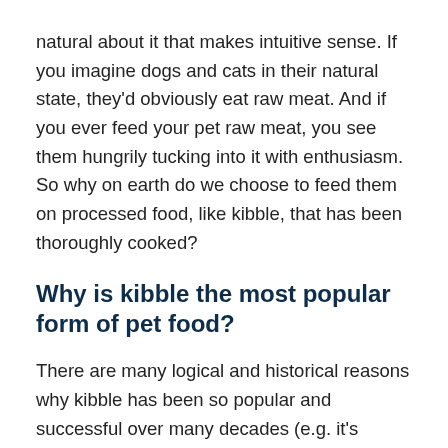natural about it that makes intuitive sense. If you imagine dogs and cats in their natural state, they'd obviously eat raw meat. And if you ever feed your pet raw meat, you see them hungrily tucking into it with enthusiasm. So why on earth do we choose to feed them on processed food, like kibble, that has been thoroughly cooked?
Why is kibble the most popular form of pet food?
There are many logical and historical reasons why kibble has been so popular and successful over many decades (e.g. it's nutritionally complete, it's been proven by many feeding trials to be good for pets' health, it's an economic way of mass producing